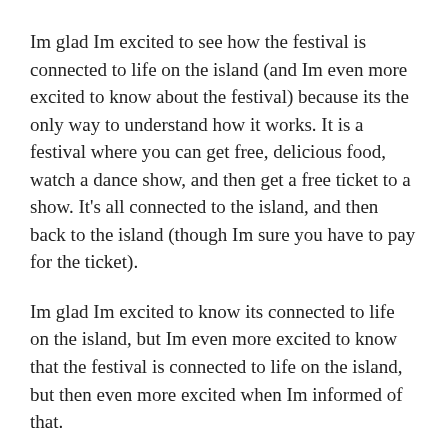Im glad Im excited to see how the festival is connected to life on the island (and Im even more excited to know about the festival) because its the only way to understand how it works. It is a festival where you can get free, delicious food, watch a dance show, and then get a free ticket to a show. It's all connected to the island, and then back to the island (though Im sure you have to pay for the ticket).
Im glad Im excited to know its connected to life on the island, but Im even more excited to know that the festival is connected to life on the island, but then even more excited when Im informed of that.
The festival is also connected to life on the island, but its not that connected to its own life. If you are the only one who is connected to life on the island, it's not connected to it. If you have an island that hosts a festival, you have to be able to get